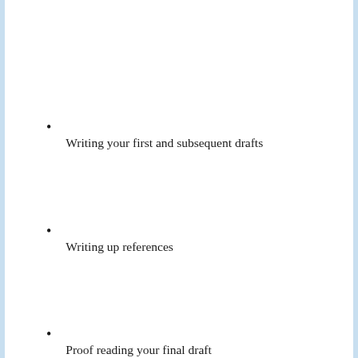Writing your first and subsequent drafts
Writing up references
Proof reading your final draft